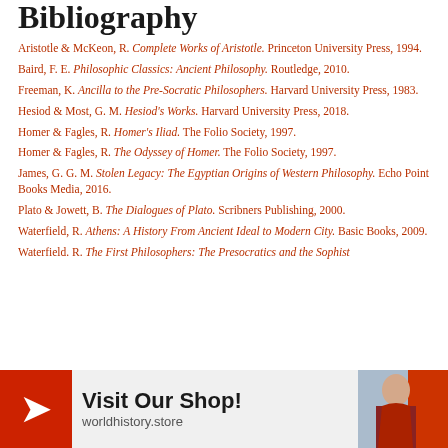Bibliography
Aristotle & McKeon, R. Complete Works of Aristotle. Princeton University Press, 1994.
Baird, F. E. Philosophic Classics: Ancient Philosophy. Routledge, 2010.
Freeman, K. Ancilla to the Pre-Socratic Philosophers. Harvard University Press, 1983.
Hesiod & Most, G. M. Hesiod's Works. Harvard University Press, 2018.
Homer & Fagles, R. Homer's Iliad. The Folio Society, 1997.
Homer & Fagles, R. The Odyssey of Homer. The Folio Society, 1997.
James, G. G. M. Stolen Legacy: The Egyptian Origins of Western Philosophy. Echo Point Books Media, 2016.
Plato & Jowett, B. The Dialogues of Plato. Scribners Publishing, 2000.
Waterfield, R. Athens: A History From Ancient Ideal to Modern City. Basic Books, 2009.
Waterfield. R. The First Philosophers: The Presocratics and the Sophist...
[Figure (infographic): Advertisement banner for worldhistory.store shop with red arrow logo, 'Visit Our Shop!' text, and a photo of a woman]